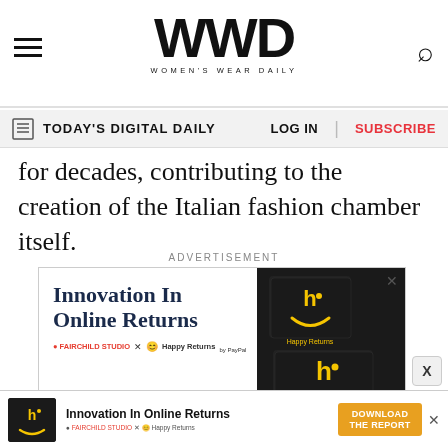WWD — Women's Wear Daily
TODAY'S DIGITAL DAILY | LOG IN | SUBSCRIBE
for decades, contributing to the creation of the Italian fashion chamber itself.
ADVERTISEMENT
[Figure (illustration): Innovation In Online Returns advertisement featuring Happy Returns branded black boxes, Fairchild Studio x Happy Returns by PayPal logos]
[Figure (illustration): Bottom sticky banner ad: Innovation In Online Returns by Fairchild Studio x Happy Returns, with Download The Report button]